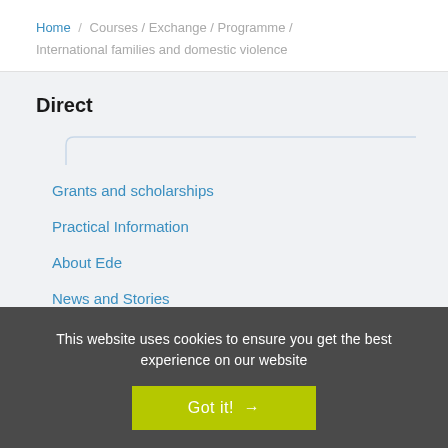Home / Courses / Exchange / Programme / International families and domestic violence
Direct
Grants and scholarships
Practical Information
About Ede
News and Stories
This website uses cookies to ensure you get the best experience on our website
Got it! →